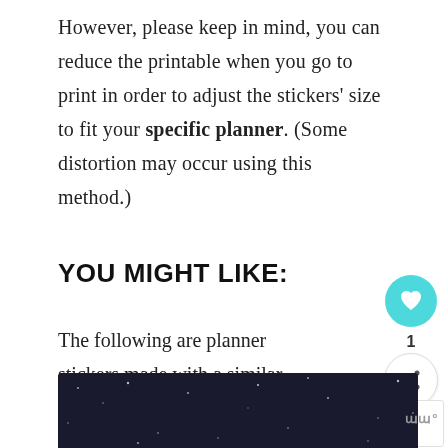However, please keep in mind, you can reduce the printable when you go to print in order to adjust the stickers' size to fit your specific planner. (Some distortion may occur using this method.)
YOU MIGHT LIKE:
The following are planner stickers made with a similar color theme...
[Figure (other): Social sharing widget with heart/like button (teal circle with heart icon), count label '1', and share button]
[Figure (infographic): What's Next widget: header 'WHAT'S NEXT →', body 'Blog Update - Tech Upgrad...', with small printer icon]
Valentine Cuties Planner Stickers
[Figure (screenshot): Dark banner image with white bold text reading 'SHE CAN STEM' on a dark starry background]